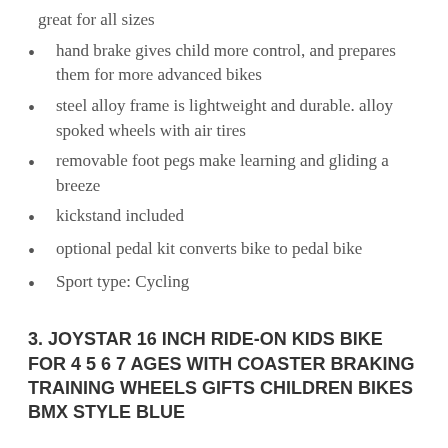great for all sizes
hand brake gives child more control, and prepares them for more advanced bikes
steel alloy frame is lightweight and durable. alloy spoked wheels with air tires
removable foot pegs make learning and gliding a breeze
kickstand included
optional pedal kit converts bike to pedal bike
Sport type: Cycling
3. JOYSTAR 16 INCH RIDE-ON KIDS BIKE FOR 4 5 6 7 AGES WITH COASTER BRAKING TRAINING WHEELS GIFTS CHILDREN BIKES BMX STYLE BLUE